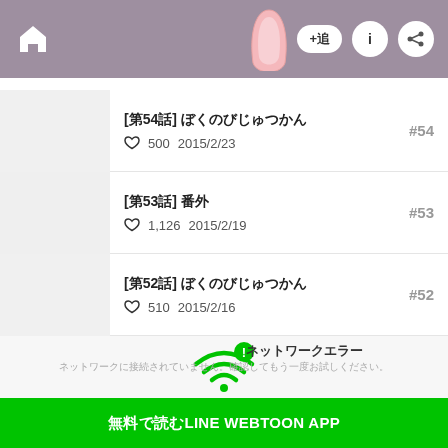Home navigation header with +追 add button, info (i) button, and share button
[第54話] ぼくのびじゅつかん ♡ 500  2015/2/23  #54
[第53話] 番外 ♡ 1,126  2015/2/19  #53
[第52話] ぼくのびじゅつかん ♡ 510  2015/2/16  #52
[Figure (infographic): WiFi error icon in green with exclamation mark in circle]
ネットワークエラー
ネットワークに接続されていません。確認してもう一度お試しください。
無料で読むLINE WEBTOON APP